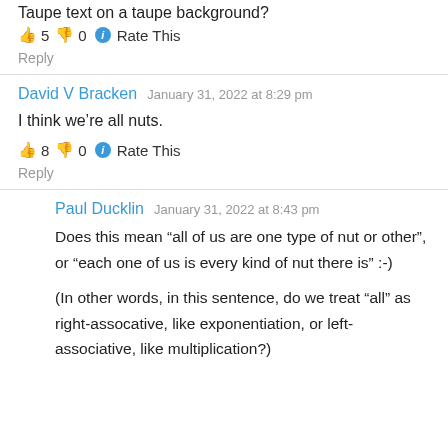Taupe text on a taupe background?
👍 5 👎 0 ℹ Rate This
Reply
David V Bracken   January 31, 2022 at 8:29 pm
I think we're all nuts.
👍 8 👎 0 ℹ Rate This
Reply
Paul Ducklin   January 31, 2022 at 8:43 pm
Does this mean “all of us are one type of nut or other”, or “each one of us is every kind of nut there is” :-)
(In other words, in this sentence, do we treat “all” as right-assocative, like exponentiation, or left-associative, like multiplication?)